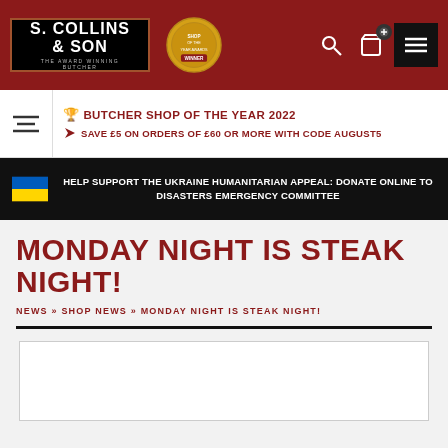S. Collins & Son — The Award Winning Butcher
🏆 BUTCHER SHOP OF THE YEAR 2022
🔴 SAVE £5 ON ORDERS OF £60 OR MORE WITH CODE AUGUST5
HELP SUPPORT THE UKRAINE HUMANITARIAN APPEAL: DONATE ONLINE TO DISASTERS EMERGENCY COMMITTEE
MONDAY NIGHT IS STEAK NIGHT!
NEWS » SHOP NEWS » MONDAY NIGHT IS STEAK NIGHT!
[Figure (photo): Article image placeholder (white box)]